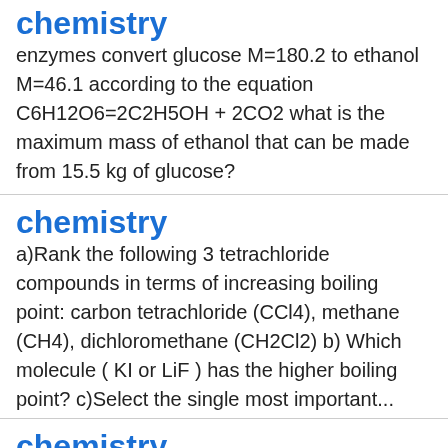chemistry
enzymes convert glucose M=180.2 to ethanol M=46.1 according to the equation C6H12O6=2C2H5OH + 2CO2 what is the maximum mass of ethanol that can be made from 15.5 kg of glucose?
chemistry
a)Rank the following 3 tetrachloride compounds in terms of increasing boiling point: carbon tetrachloride (CCl4), methane (CH4), dichloromethane (CH2Cl2) b) Which molecule ( KI or LiF ) has the higher boiling point? c)Select the single most important...
chemistry